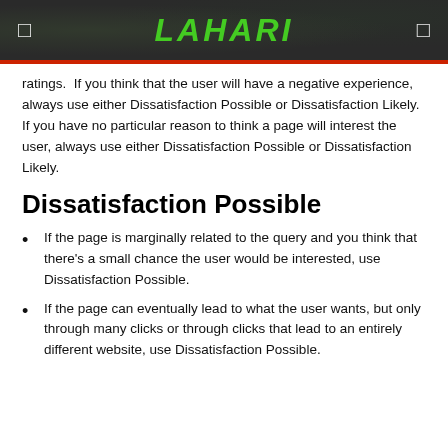LAHARI
ratings.  If you think that the user will have a negative experience, always use either Dissatisfaction Possible or Dissatisfaction Likely. If you have no particular reason to think a page will interest the user, always use either Dissatisfaction Possible or Dissatisfaction Likely.
Dissatisfaction Possible
If the page is marginally related to the query and you think that there's a small chance the user would be interested, use Dissatisfaction Possible.
If the page can eventually lead to what the user wants, but only through many clicks or through clicks that lead to an entirely different website, use Dissatisfaction Possible.